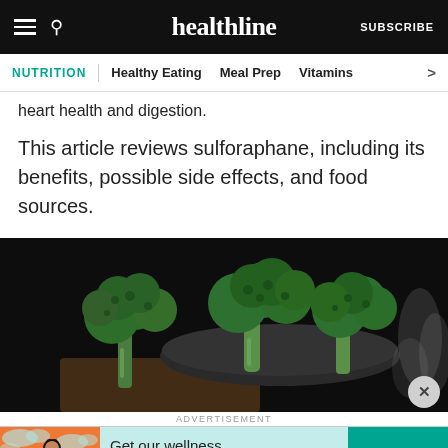healthline | SUBSCRIBE
NUTRITION | Healthy Eating | Meal Prep | Vitamins
heart health and digestion.
This article reviews sulforaphane, including its benefits, possible side effects, and food sources.
[Figure (photo): Dark background photo of two broccoli heads in a bowl, with steam/smoke visible on the right side]
ADVERTISEMENT
Get our wellness newsletter.